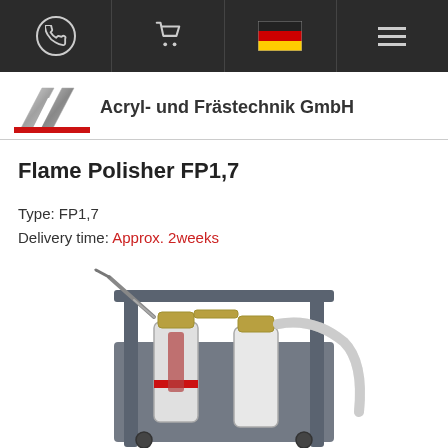Navigation bar with phone, cart, German flag, and menu icons
[Figure (logo): AC Acryl- und Frästechnik GmbH logo with stylized AC letters and red underline bar]
Flame Polisher FP1,7
Type: FP1,7
Delivery time: Approx. 2weeks
[Figure (photo): Photo of Flame Polisher FP1,7 industrial device with filter canisters, hoses, and metal frame on a cart]